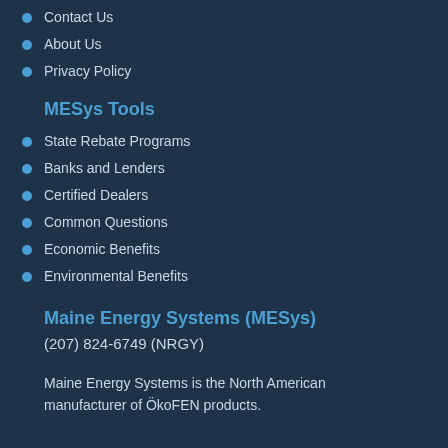Contact Us
About Us
Privacy Policy
MESys Tools
State Rebate Programs
Banks and Lenders
Certified Dealers
Common Questions
Economic Benefits
Environmental Benefits
Maine Energy Systems (MESys)
(207) 824-6749 (NRGY)
Maine Energy Systems is the North American manufacturer of ÖkoFEN products.